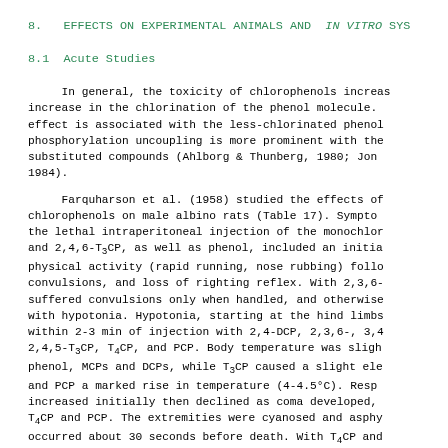8.   EFFECTS ON EXPERIMENTAL ANIMALS AND  IN VITRO SYS
8.1  Acute Studies
In general, the toxicity of chlorophenols increas increase in the chlorination of the phenol molecule. effect is associated with the less-chlorinated phenol phosphorylation uncoupling is more prominent with the substituted compounds (Ahlborg & Thunberg, 1980; Jon 1984).
Farquharson et al. (1958) studied the effects of chlorophenols on male albino rats (Table 17). Sympto the lethal intraperitoneal injection of the monochlor and 2,4,6-T3CP, as well as phenol, included an initia physical activity (rapid running, nose rubbing) follo convulsions, and loss of righting reflex. With 2,3,6 suffered convulsions only when handled, and otherwise with hypotonia. Hypotonia, starting at the hind limbs within 2-3 min of injection with 2,4-DCP, 2,3,6-, 3,4 2,4,5-T3CP, T4CP, and PCP. Body temperature was sligh phenol, MCPs and DCPs, while T3CP caused a slight ele and PCP a marked rise in temperature (4-4.5°C). Resp increased initially then declined as coma developed, T4CP and PCP. The extremities were cyanosed and asphy occurred about 30 seconds before death. With T4CP and respiration stopped usually one-half to 2 min before heart, whereas with the other chlorophenols, respirat